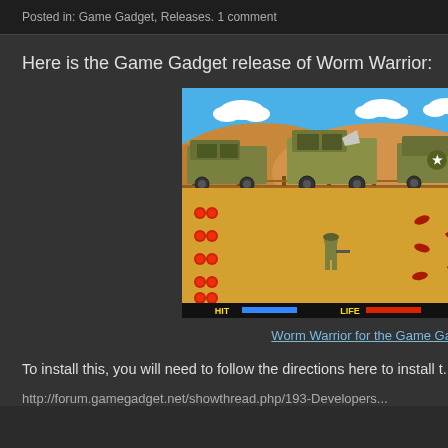Posted in: Game Gadget, Releases. 1 comment
Here is the Game Gadget release of Worm Warrior:
[Figure (screenshot): Worm Warrior game screenshot for the Game Gadget. Shows a desert battlefield scene with military vehicles (tanks/trucks) in the background under a blue sky with clouds. The foreground shows sandy desert terrain with a soldier character, red enemies/items scattered on the ground, and HIT and LIFE status bars at the bottom.]
Worm Warrior for the Game Gad...
To install this, you will need to follow the directions here to install t...
http://forum.gamegadget.net/showthread.php/193-Developers...